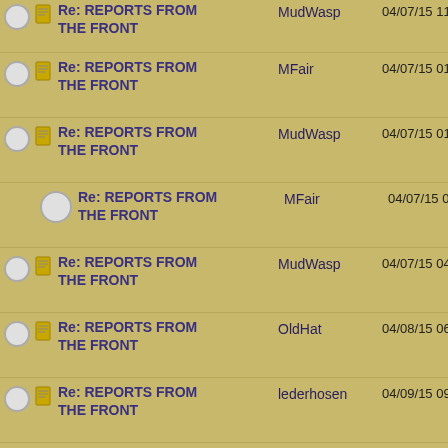Re: REPORTS FROM THE FRONT | MudWasp | 04/07/15 11:44 AM
Re: REPORTS FROM THE FRONT | MFair | 04/07/15 01:09 PM
Re: REPORTS FROM THE FRONT | MudWasp | 04/07/15 01:16 PM
Re: REPORTS FROM THE FRONT | MFair | 04/07/15 01:39 PM
Re: REPORTS FROM THE FRONT | MudWasp | 04/07/15 04:09 PM
Re: REPORTS FROM THE FRONT | OldHat | 04/08/15 06:50 PM
Re: REPORTS FROM THE FRONT | lederhosen | 04/09/15 09:30 AM
Re: REPORTS FROM THE FRONT | Banjoman | 04/09/15 02:03 PM
Re: REPORTS FROM | lederhosen
[Figure (screenshot): Advertisement banner: Doctors Stunned: This Removes Wrinkles, with lips photo, n/a text, close button, and blue arrow button]